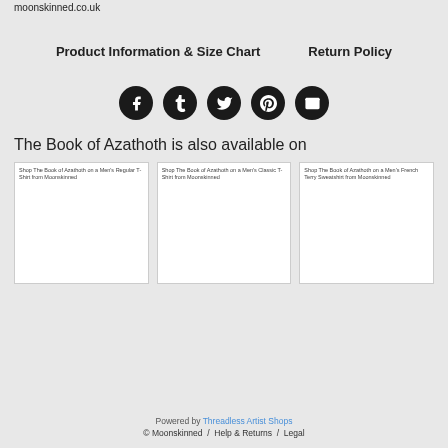moonskinned.co.uk
Product Information & Size Chart    Return Policy
[Figure (other): Row of 5 social media icon buttons (Facebook, Tumblr, Twitter, Pinterest, Email) as dark circular icons]
The Book of Azathoth is also available on
[Figure (other): Product card: Shop The Book of Azathoth on a Men's Regular T-Shirt from Moonskinned (white card, blank image area)]
[Figure (other): Product card: Shop The Book of Azathoth on a Men's Classic T-Shirt from Moonskinned (white card, blank image area)]
[Figure (other): Product card: Shop The Book of Azathoth on a Men's French Terry Sweatshirt from Moonskinned (white card, blank image area)]
Powered by Threadless Artist Shops
© Moonskinned / Help & Returns / Legal